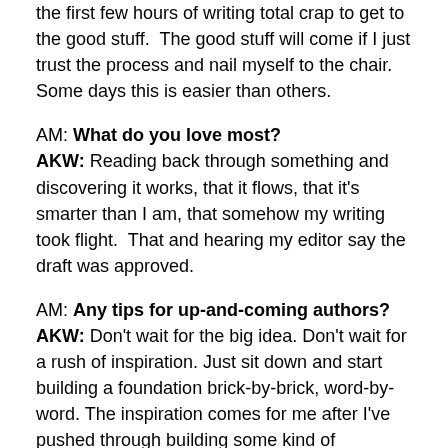Listening to the story, to the characters. Slogging through the first few hours of writing total crap to get to the good stuff. The good stuff will come if I just trust the process and nail myself to the chair. Some days this is easier than others.
AM: What do you love most?
AKW: Reading back through something and discovering it works, that it flows, that it's smarter than I am, that somehow my writing took flight. That and hearing my editor say the draft was approved.
AM: Any tips for up-and-coming authors?
AKW: Don't wait for the big idea. Don't wait for a rush of inspiration. Just sit down and start building a foundation brick-by-brick, word-by-word. The inspiration comes for me after I've pushed through building some kind of framework. That's when you got to write the fun stuff.